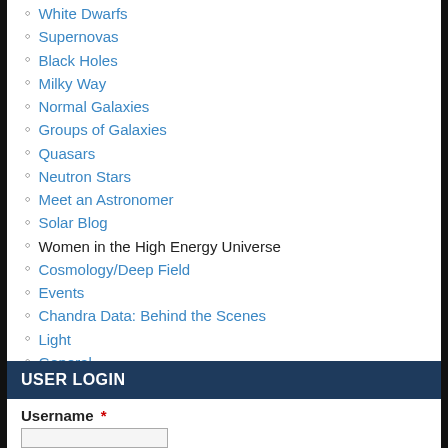White Dwarfs
Supernovas
Black Holes
Milky Way
Normal Galaxies
Groups of Galaxies
Quasars
Neutron Stars
Meet an Astronomer
Solar Blog
Women in the High Energy Universe
Cosmology/Deep Field
Events
Chandra Data: Behind the Scenes
Light
General
Q&A of the Day
Unexpected
Formal Education
Poetry
USER LOGIN
Username *